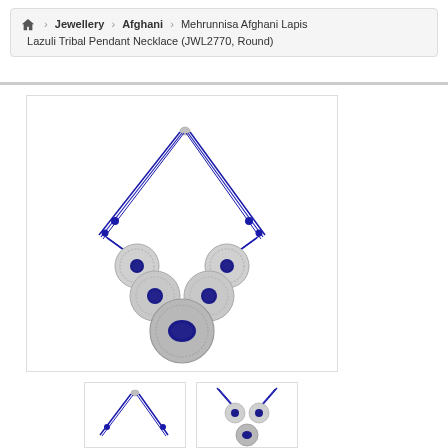🏠 > Jewellery > Afghani > Mehrunnisa Afghani Lapis Lazuli Tribal Pendant Necklace (JWL2770, Round)
[Figure (photo): Photo of a tribal pendant necklace with a dark blue cord, five silver medallion pendants with lapis lazuli stones, the largest pendant at the bottom center]
[Figure (photo): Thumbnail 1: top portion of the same necklace showing the cord and clasp]
[Figure (photo): Thumbnail 2: bottom portion of the necklace showing the pendants]